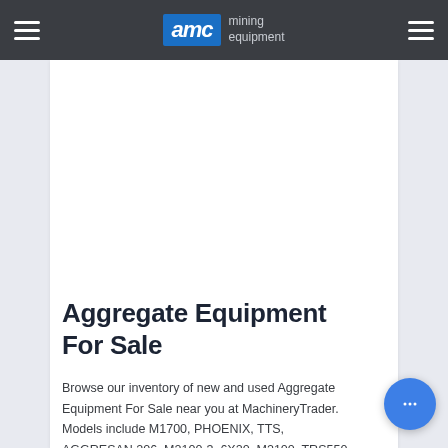AMC mining equipment
Aggregate Equipment For Sale
Browse our inventory of new and used Aggregate Equipment For Sale near you at MachineryTrader. Models include M1700, PHOENIX, TTS, AGGRESAN 206, M2100-3, 6X20, M2100, TRS550 SPALECK, TRM4000-M, and ...